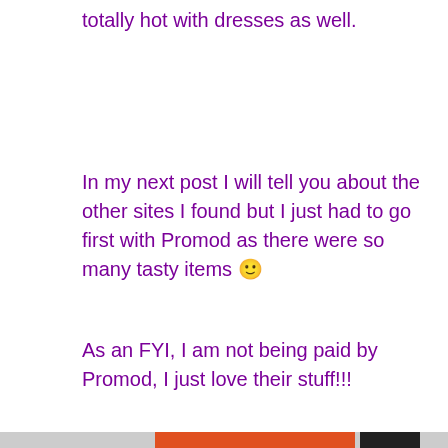totally hot with dresses as well.
In my next post I will tell you about the other sites I found but I just had to go first with Promod as there were so many tasty items 🙂
As an FYI, I am not being paid by Promod, I just love their stuff!!!
Privacy & Cookies: This site uses cookies. By continuing to use this website, you agree to their use.
To find out more, including how to control cookies, see here: Cookie Policy
Close and accept